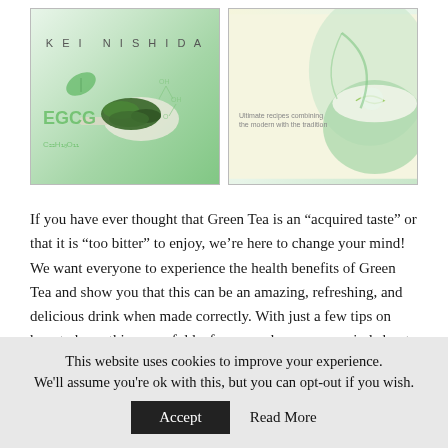[Figure (illustration): Two book covers side by side. Left book: green tea theme with EGCG label, chemical formula, tea leaves on spoon, by Kei Nishida. Right book: matcha/green tea latte theme with cream swirl design and leaf motif, tagline 'Ultimate recipes combining the modern with the tradition'.]
If you have ever thought that Green Tea is an “acquired taste” or that it is “too bitter” to enjoy, we’re here to change your mind! We want everyone to experience the health benefits of Green Tea and show you that this can be an amazing, refreshing, and delicious drink when made correctly. With just a few tips on how to brew this powerful leaf we can change your mind about the taste and enjoyment of drinking Green Tea.
This website uses cookies to improve your experience. We'll assume you're ok with this, but you can opt-out if you wish.